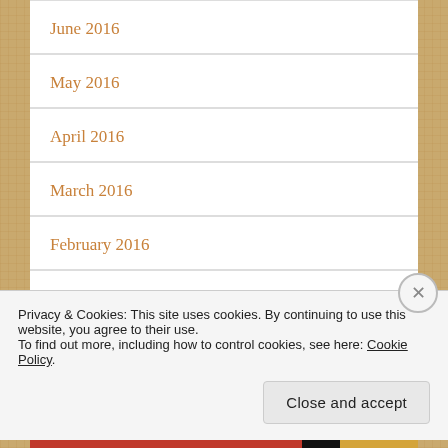June 2016
May 2016
April 2016
March 2016
February 2016
January 2016
Privacy & Cookies: This site uses cookies. By continuing to use this website, you agree to their use. To find out more, including how to control cookies, see here: Cookie Policy